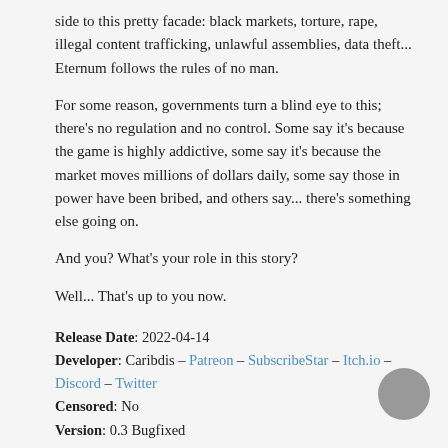side to this pretty facade: black markets, torture, rape, illegal content trafficking, unlawful assemblies, data theft... Eternum follows the rules of no man.
For some reason, governments turn a blind eye to this; there's no regulation and no control. Some say it's because the game is highly addictive, some say it's because the market moves millions of dollars daily, some say those in power have been bribed, and others say... there's something else going on.
And you? What's your role in this story?
Well... That's up to you now.
Release Date: 2022-04-14
Developer: Caribdis – Patreon – SubscribeStar – Itch.io – Discord – Twitter
Censored: No
Version: 0.3 Bugfixed
OS: Windows, Mac, Android
Language: English